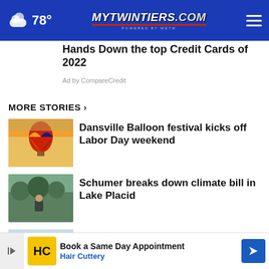78° mytwintiers.com
Hands Down the top Credit Cards of 2022
Ad by CompareCredit
MORE STORIES ›
Dansville Balloon festival kicks off Labor Day weekend
Schumer breaks down climate bill in Lake Placid
Several New York hunting seasons start soon
or of
[Figure (screenshot): Bottom advertisement bar: Hair Cuttery - Book a Same Day Appointment]
Book a Same Day Appointment Hair Cuttery